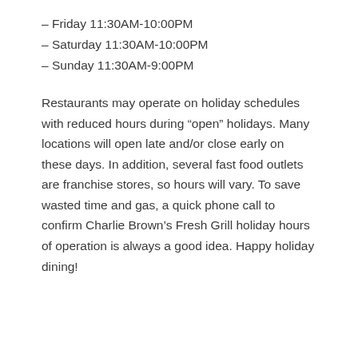– Friday 11:30AM-10:00PM
– Saturday 11:30AM-10:00PM
– Sunday 11:30AM-9:00PM
Restaurants may operate on holiday schedules with reduced hours during “open” holidays. Many locations will open late and/or close early on these days. In addition, several fast food outlets are franchise stores, so hours will vary. To save wasted time and gas, a quick phone call to confirm Charlie Brown’s Fresh Grill holiday hours of operation is always a good idea. Happy holiday dining!